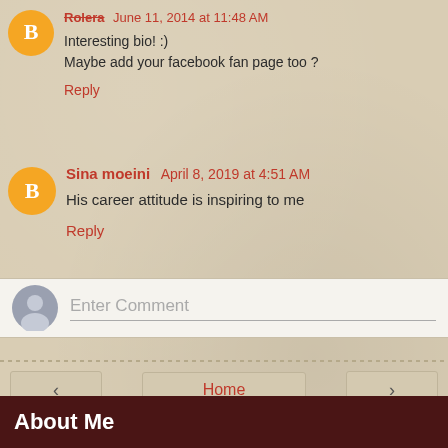Interesting bio! :)
Maybe add your facebook fan page too ?
Reply
Sina moeini April 8, 2019 at 4:51 AM
His career attitude is inspiring to me
Reply
Enter Comment
Home
View web version
About Me